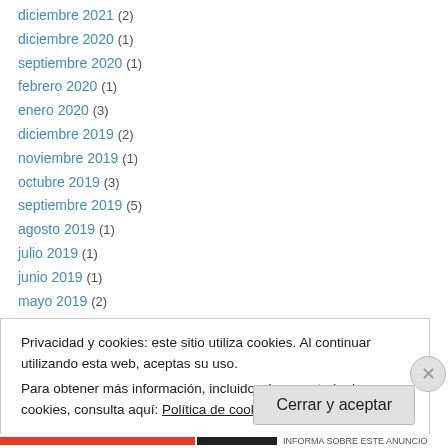diciembre 2021 (2)
diciembre 2020 (1)
septiembre 2020 (1)
febrero 2020 (1)
enero 2020 (3)
diciembre 2019 (2)
noviembre 2019 (1)
octubre 2019 (3)
septiembre 2019 (5)
agosto 2019 (1)
julio 2019 (1)
junio 2019 (1)
mayo 2019 (2)
Privacidad y cookies: este sitio utiliza cookies. Al continuar utilizando esta web, aceptas su uso.
Para obtener más información, incluido cómo controlar las cookies, consulta aquí: Política de cookies
INFORMA SOBRE ESTE ANUNCIO